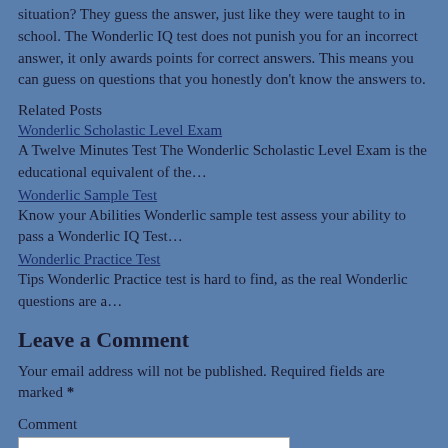situation? They guess the answer, just like they were taught to in school. The Wonderlic IQ test does not punish you for an incorrect answer, it only awards points for correct answers. This means you can guess on questions that you honestly don't know the answers to.
Related Posts
Wonderlic Scholastic Level Exam
A Twelve Minutes Test The Wonderlic Scholastic Level Exam is the educational equivalent of the…
Wonderlic Sample Test
Know your Abilities Wonderlic sample test assess your ability to pass a Wonderlic IQ Test…
Wonderlic Practice Test
Tips Wonderlic Practice test is hard to find, as the real Wonderlic questions are a…
Leave a Comment
Your email address will not be published. Required fields are marked *
Comment